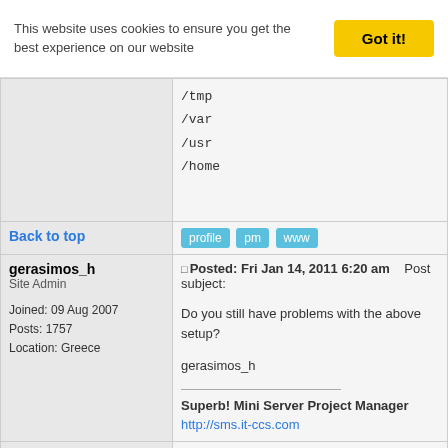This website uses cookies to ensure you get the best experience on our website
Got it!
/tmp
/var
/usr
/home
Back to top
profile  pm  www
gerasimos_h
Site Admin
Joined: 09 Aug 2007
Posts: 1757
Location: Greece
Posted: Fri Jan 14, 2011 6:20 am    Post subject:
Do you still have problems with the above setup?
gerasimos_h
Superb! Mini Server Project Manager
http://sms.it-ccs.com
Back to top
profile  pm  www
05K4R
Junior Member
Joined: 08 Jan 2011
Posts: 11
Posted: Fri Jan 14, 2011 10:54 am    Post subject:
Yeah, the boot problem and root-password problem wa... didn't change something by mistake. I'll post back with t...
Back to top
profile  pm  www
05K4R
Junior Member
Posted: Fri Jan 14, 2011 2:14 pm    Post subject: